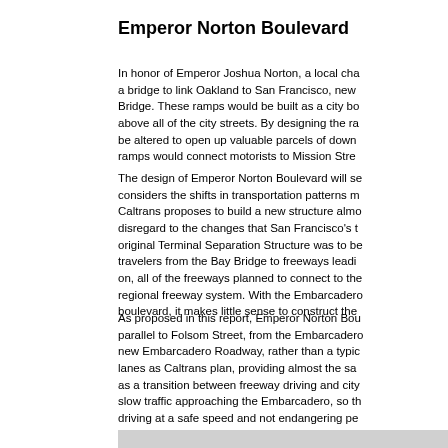Emperor Norton Boulevard
In honor of Emperor Joshua Norton, a local cha... a bridge to link Oakland to San Francisco, new... Bridge. These ramps would be built as a city bo... above all of the city streets. By designing the ra... be altered to open up valuable parcels of down... ramps would connect motorists to Mission Stre...
The design of Emperor Norton Boulevard will se... considers the shifts in transportation patterns m... Caltrans proposes to build a new structure almo... disregard to the changes that San Francisco's t... original Terminal Separation Structure was to be... travelers from the Bay Bridge to freeways leadi... on, all of the freeways planned to connect to the... regional freeway system. With the Embarcadero... boulevard, it makes little sense to construct the...
As proposed in this report, Emperor Norton Bou... parallel to Folsom Street, from the Embarcadero... new Embarcadero Roadway, rather than a typic... lanes as Caltrans plan, providing almost the sa... as a transition between freeway driving and city... slow traffic approaching the Embarcadero, so th... driving at a safe speed and not endangering pe...